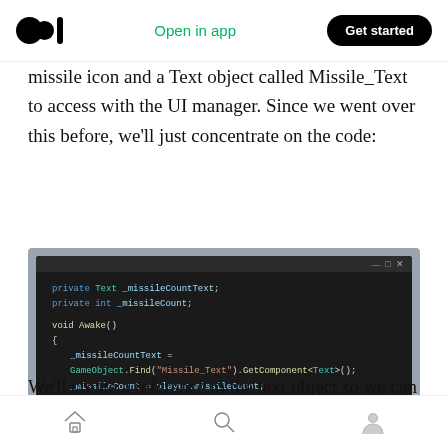Open in app | Get started
missile icon and a Text object called Missile_Text to access with the UI manager. Since we went over this before, we'll just concentrate on the code:
[Figure (screenshot): Code editor screenshot showing C# Unity code: private Text _missileCountText; private int _missileCount; void Awake() { _missileCountText = GameObject.Find("Missile_Text").GetComponent<Text>(); _missileCount = player.missileCount; }]
We'll create a reference to the text object so we can update it, and a _missileCount variable which, like the _ammoCount, will reference the
Home | Search | Profile